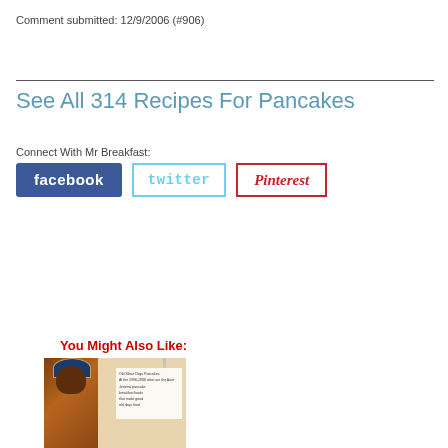Comment submitted: 12/9/2006 (#906)
See All 314 Recipes For Pancakes
Connect With Mr Breakfast:
[Figure (logo): Facebook, Twitter, and Pinterest social media buttons]
You Might Also Like:
[Figure (photo): Photo collage showing a person and pancake-related imagery]